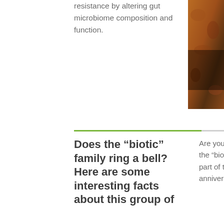resistance by altering gut microbiome composition and function.
[Figure (photo): Close-up photo of a textured brown surface, possibly food or biological material, positioned in the upper right area of the page.]
Does the “biotic” family ring a bell? Here are some interesting facts about this group of
Are you familiar with the “biotic” family? As part of the GMFH 10th-anniversary